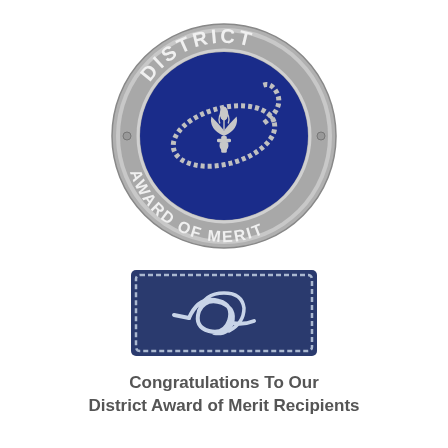[Figure (illustration): District Award of Merit medallion — circular silver coin with blue enamel center, bearing a fleur-de-lis and rope design, with 'DISTRICT' arched at top and 'AWARD OF MERIT' arched at bottom.]
[Figure (illustration): A rectangular dark-blue Boy Scouts patch with a silver/white rope knot embroidered in the center, bordered with a light grey stitched edge.]
Congratulations To Our District Award of Merit Recipients